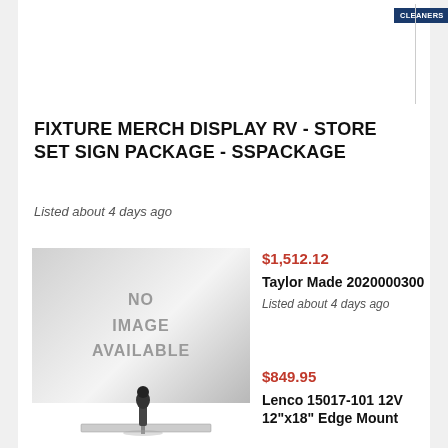[Figure (screenshot): Navigation menu buttons: CLEANERS, WINTERIZING, MONTHLY SPECIALS, TAIL LIGHTS, NEW PRODUCTS on dark blue background]
FIXTURE MERCH DISPLAY RV - STORE SET SIGN PACKAGE - SSPACKAGE
Listed about 4 days ago
[Figure (photo): No image available placeholder — grey gradient box with text NO IMAGE AVAILABLE]
$1,512.12
Taylor Made 2020000300
Listed about 4 days ago
[Figure (photo): Product photo of a trim tab actuator mounted on a flat plate — Lenco 15017-101]
$849.95
Lenco 15017-101 12V 12"x18" Edge Mount